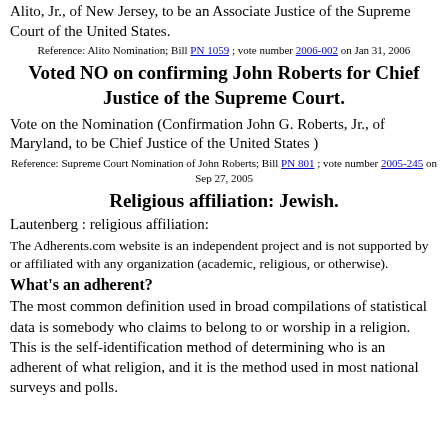Alito, Jr., of New Jersey, to be an Associate Justice of the Supreme Court of the United States.
Reference: Alito Nomination; Bill PN 1059 ; vote number 2006-002 on Jan 31, 2006
Voted NO on confirming John Roberts for Chief Justice of the Supreme Court.
Vote on the Nomination (Confirmation John G. Roberts, Jr., of Maryland, to be Chief Justice of the United States )
Reference: Supreme Court Nomination of John Roberts; Bill PN 801 ; vote number 2005-245 on Sep 27, 2005
Religious affiliation: Jewish.
Lautenberg : religious affiliation:
The Adherents.com website is an independent project and is not supported by or affiliated with any organization (academic, religious, or otherwise).
What’s an adherent?
The most common definition used in broad compilations of statistical data is somebody who claims to belong to or worship in a religion. This is the self-identification method of determining who is an adherent of what religion, and it is the method used in most national surveys and polls.